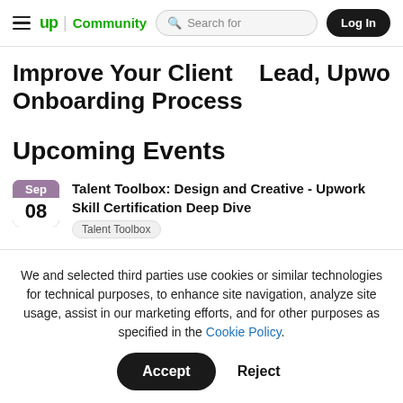≡ up | Community   Search for   Log In
Improve Your Client Onboarding Process   Lead, Upwo
Upcoming Events
Sep 08 — Talent Toolbox: Design and Creative - Upwork Skill Certification Deep Dive — Talent Toolbox
We and selected third parties use cookies or similar technologies for technical purposes, to enhance site navigation, analyze site usage, assist in our marketing efforts, and for other purposes as specified in the Cookie Policy.
Accept   Reject